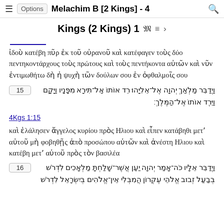≡ Options  Melachim B [2 Kings] - 4  🔍
Kings (2 Kings) 1𝔐 ≡ ›
ἰδοὺ κατέβη πῦρ ἐκ τοῦ οὐρανοῦ καὶ κατέφαγεν τοὺς δύο πεντηκοντάρχους τοὺς πρώτους καὶ τοὺς πεντήκοντα αὐτῶν καὶ νῦν ἐντιμωθήτω δὴ ἡ ψυχὴ τῶν δούλων σου ἐν ὀφθαλμοῖς σου
15 וַיְדַבֵּר מַלְאַךְ יְהוָה אֶל־אֵלִיָּהוּ רֵד אוֹתוֹ אַל־תִּירָא מִפָּנָיו וַיָּקָם וַיֵּרֶד אוֹתוֹ אֶל־הַמֶּלֶךְ׃
4Kgs 1:15
καὶ ἐλάλησεν ἄγγελος κυρίου πρὸς Ηλιου καὶ εἶπεν κατάβηθι μετʼ αὐτοῦ μὴ φοβηθῇς ἀπὸ προσώπου αὐτῶν καὶ ἀνέστη Ηλιου καὶ κατέβη μετʼ αὐτοῦ πρὸς τὸν βασιλέα
16 וַיְדַבֵּר אֵלָיו כֹּה־אָמַר יְהוָה יַעַן אֲשֶׁר־שָׁלַחְתָּ מַלְאָכִים לִדְרֹשׁ בְּבַעַל זְבוּב אֱלֹהֵי עֶקְרוֹן הֲמִבְּלִי אֵין־אֱלֹהִים בְּיִשְׂרָאֵל לִדְרֹשׁ